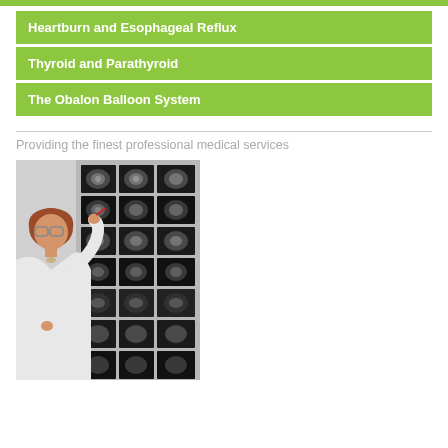Heartburn and Esophageal Reflux
Thyroid and Parathyroid
The Obalon Balloon System
Providing the finest professional medical services
[Figure (photo): A female doctor or radiologist in a white coat examining MRI/CT brain scan images on a light board, pointing at the scans with a red pen.]